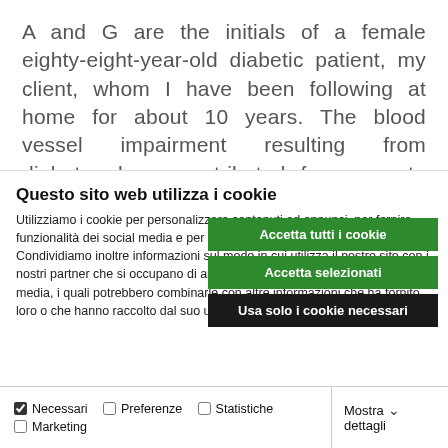A and G are the initials of a female eighty-eight-year-old diabetic patient, my client, whom I have been following at home for about 10 years. The blood vessel impairment resulting from diabetes have contributed for years to the onset of renal insufficiency and, recently, of trophic and necrotic
Questo sito web utilizza i cookie
Utilizziamo i cookie per personalizzare contenuti ed annunci, per fornire funzionalità dei social media e per analizzare il nostro traffico. Condividiamo inoltre informazioni sul modo in cui utilizza il nostro sito con i nostri partner che si occupano di analisi dei dati web, pubblicità e social media, i quali potrebbero combinarle con altre informazioni che ha fornito loro o che hanno raccolto dal suo utilizzo dei loro servizi.
Accetta tutti i cookie
Accetta selezionati
Usa solo i cookie necessari
Necessari  Preferenze  Statistiche  Marketing  Mostra dettagli